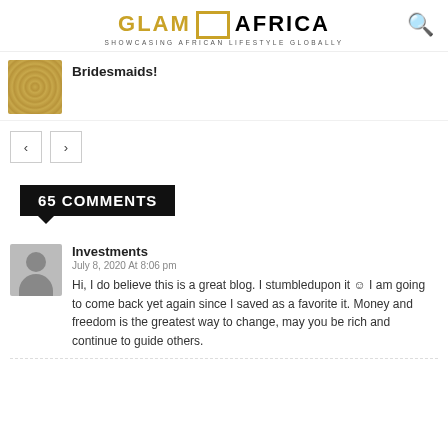GLAM AFRICA — SHOWCASING AFRICAN LIFESTYLE GLOBALLY
Bridesmaids!
< >
65 COMMENTS
Investments
July 8, 2020 At 8:06 pm
Hi, I do believe this is a great blog. I stumbledupon it ☺ I am going to come back yet again since I saved as a favorite it. Money and freedom is the greatest way to change, may you be rich and continue to guide others.